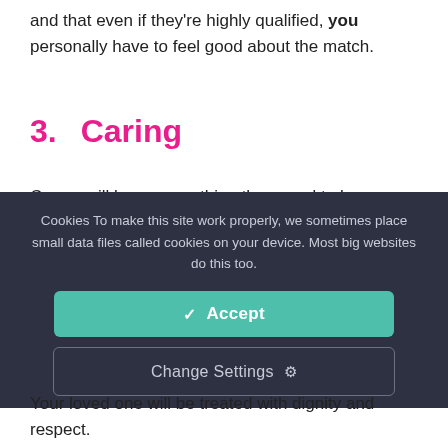and that even if they're highly qualified, you personally have to feel good about the match.
3.      Caring
Carers will know everything they need to know about
Cookies To make this site work properly, we sometimes place small data files called cookies on your device. Most big websites do this too.
✓ Accept
Change Settings ⚙
Your loved one will be treated with dignity and respect.